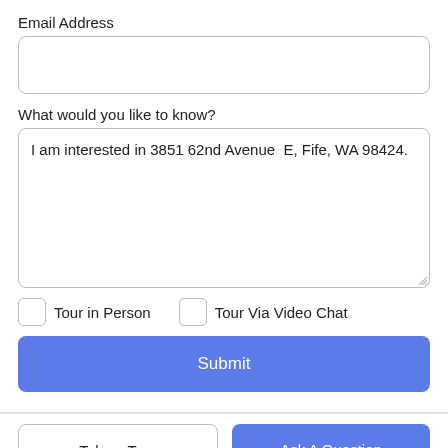Email Address
What would you like to know?
I am interested in 3851 62nd Avenue  E, Fife, WA 98424.
Tour in Person
Tour Via Video Chat
Submit
Take a Tour
Ask A Question